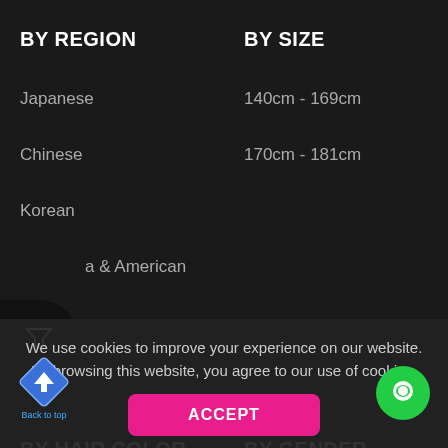BY REGION
BY SIZE
Japanese
140cm - 169cm
Chinese
170cm - 181cm
Korean
a & American
African
Asian
BY HAIR COLOR
BY GENDER
[Figure (other): Filter funnel icon button overlay on left edge]
We use cookies to improve your experience on our website. By browsing this website, you agree to our use of cookies.
[Figure (other): ACCEPT button (pink/magenta)]
[Figure (other): Back to top diamond arrow button]
[Figure (other): Green chat button circle bottom right]